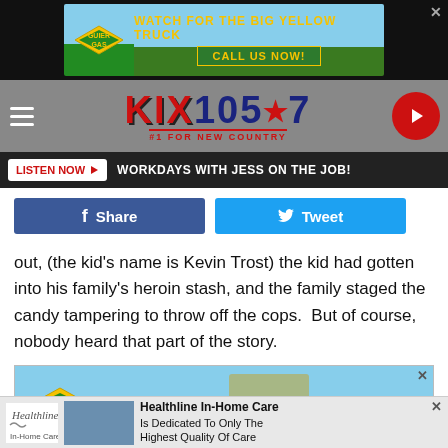[Figure (screenshot): Guier Gas advertisement banner with yellow truck and green/sky background, 'Watch for the Big Yellow Truck' and 'Call Us Now!' text]
[Figure (logo): KIX 105.7 #1 For New Country radio station logo with red text and navigation hamburger menu and play button]
[Figure (screenshot): Listen Now button bar with dark background, 'Workdays with Jess on the Job!' text]
[Figure (screenshot): Facebook Share and Twitter Tweet social sharing buttons]
out, (the kid's name is Kevin Trost) the kid had gotten into his family's heroin stash, and the family staged the candy tampering to throw off the cops.  But of course, nobody heard that part of the story.
[Figure (screenshot): Guier Gas advertisement banner partial view with yellow truck]
[Figure (screenshot): Healthline In-Home Care advertisement: 'Is Dedicated To Only The Highest Quality Of Care']